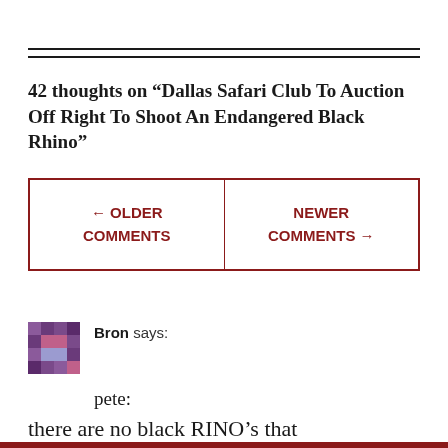42 thoughts on “Dallas Safari Club To Auction Off Right To Shoot An Endangered Black Rhino”
| ← OLDER COMMENTS | NEWER COMMENTS → |
Bron says:
pete:
there are no black RINO’s that